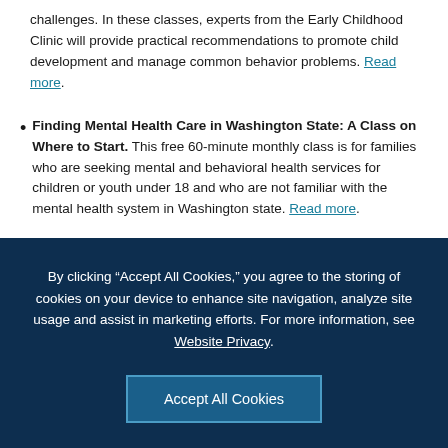challenges. In these classes, experts from the Early Childhood Clinic will provide practical recommendations to promote child development and manage common behavior problems. Read more.
Finding Mental Health Care in Washington State: A Class on Where to Start. This free 60-minute monthly class is for families who are seeking mental and behavioral health services for children or youth under 18 and who are not familiar with the mental health system in Washington state. Read more.
By clicking “Accept All Cookies,” you agree to the storing of cookies on your device to enhance site navigation, analyze site usage and assist in marketing efforts. For more information, see Website Privacy.
Accept All Cookies